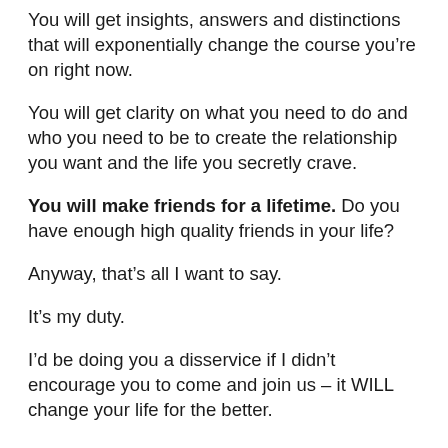You will get insights, answers and distinctions that will exponentially change the course you’re on right now.
You will get clarity on what you need to do and who you need to be to create the relationship you want and the life you secretly crave.
You will make friends for a lifetime. Do you have enough high quality friends in your life?
Anyway, that’s all I want to say.
It’s my duty.
I’d be doing you a disservice if I didn’t encourage you to come and join us – it WILL change your life for the better.